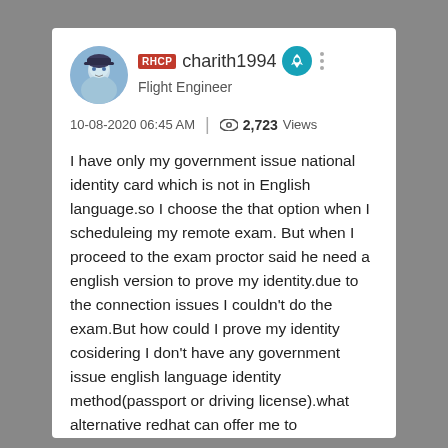RHCP charith1994 Flight Engineer
10-08-2020 06:45 AM | 2,723 Views
I have only my government issue national identity card which is not in English language.so I choose the that option when I scheduleing my remote exam. But when I proceed to the exam proctor said he need a english version to prove my identity.due to the connection issues I couldn't do the exam.But how could I prove my identity cosidering I don't have any government issue english language identity method(passport or driving license).what alternative redhat can offer me to considering my situation .